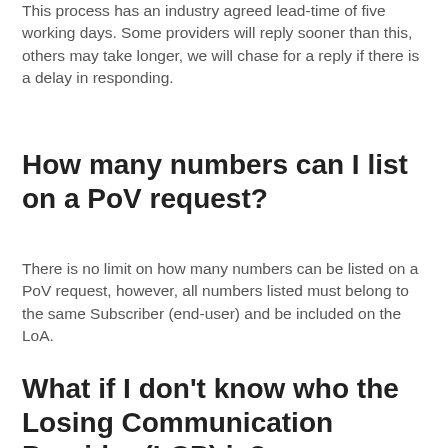This process has an industry agreed lead-time of five working days.  Some providers will reply sooner than this, others may take longer,  we will chase for a reply if there is a delay in responding.
How many numbers can I list on a PoV request?
There is no limit on how many numbers can be listed on a PoV request, however, all numbers listed must belong to the same Subscriber (end-user) and be included on the LoA.
What if I don't know who the Losing Communication Provider (LCP) is?